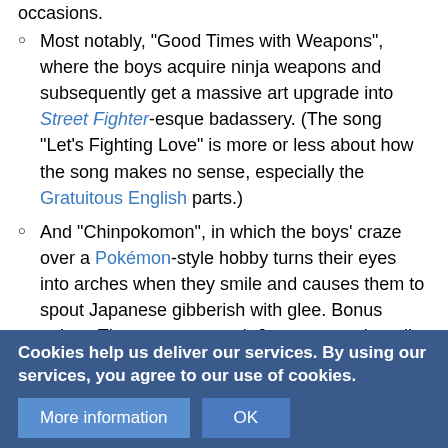occasions.
Most notably, "Good Times with Weapons", where the boys acquire ninja weapons and subsequently get a massive art upgrade into Street Fighter-esque badassery. (The song "Let's Fighting Love" is more or less about how the song makes no sense, especially the Gratuitous English parts.)
And "Chinpokomon", in which the boys' craze over a Pokémon-style hobby turns their eyes into arches when they smile and causes them to spout Japanese gibberish with glee. Bonus points: The creators speak Japanese so it really is gibberish.
Johnny Bravo once had Johnny watching "Clam League ... Dragonball Z.
ReBoot presented a game that simultaneously spoofed both Dragon... same time.
Cookies help us deliver our services. By using our services, you agree to our use of cookies.